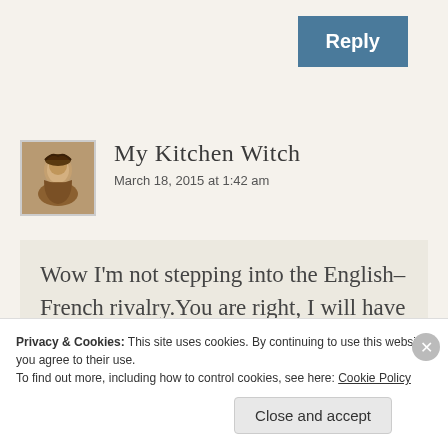[Figure (other): Reply button — teal/steel-blue rectangle with white bold text 'Reply']
My Kitchen Witch
March 18, 2015 at 1:42 am
Wow I'm not stepping into the English–French rivalry.You are right, I will have to add the English
Privacy & Cookies: This site uses cookies. By continuing to use this website, you agree to their use.
To find out more, including how to control cookies, see here: Cookie Policy
Close and accept